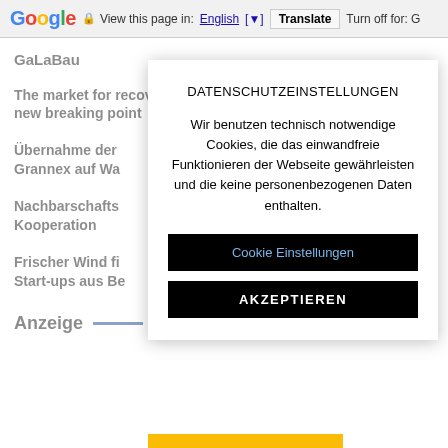Google  View this page in: English [▼]  Translate  Turn off for: G
GaLaBau
The market for recovered paper is at a new breaking point
Übernahme der ... Grannex auf Wa...
Nachbarschafts... Kooperation
Frischer Wind fü... Start-ups aus Be...
Anzeige —
DATENSCHUTZEINSTELLUNGEN
Wir benutzen technisch notwendige Cookies, die das einwandfreie Funktionieren der Webseite gewährleisten und die keine personenbezogenen Daten enthalten.
Cookie Einstellungen
AKZEPTIEREN